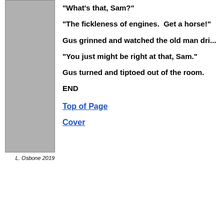[Figure (illustration): Gray rectangular sidebar/image placeholder]
L. Osbone 2019
It all goes to show you,” the old man chu...
"What's that, Sam?"
"The fickleness of engines.  Get a horse!"
Gus grinned and watched the old man dri...
"You just might be right at that, Sam."
Gus turned and tiptoed out of the room.
END
Top of Page
Cover